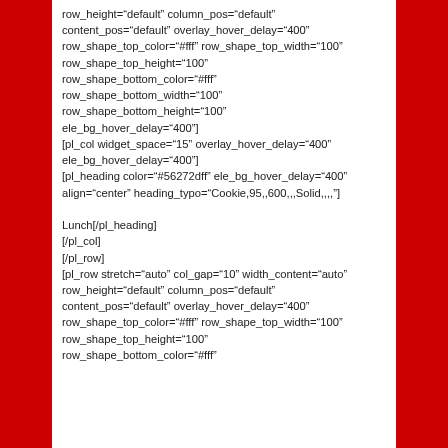row_height="default" column_pos="default" content_pos="default" overlay_hover_delay="400" row_shape_top_color="#fff" row_shape_top_width="100" row_shape_top_height="100" row_shape_bottom_color="#fff" row_shape_bottom_width="100" row_shape_bottom_height="100" ele_bg_hover_delay="400"] [pl_col widget_space="15" overlay_hover_delay="400" ele_bg_hover_delay="400"] [pl_heading color="#56272dff" ele_bg_hover_delay="400" align="center" heading_typo="Cookie,95,,600,,,Solid,,,,"]

Lunch[/pl_heading] [/pl_col] [/pl_row] [pl_row stretch="auto" col_gap="10" width_content="auto" row_height="default" column_pos="default" content_pos="default" overlay_hover_delay="400" row_shape_top_color="#fff" row_shape_top_width="100" row_shape_top_height="100" row_shape_bottom_color="#fff"